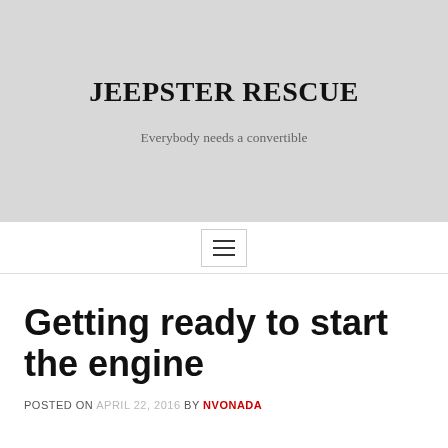JEEPSTER RESCUE
Everybody needs a convertible
[Figure (other): Hamburger menu button with three horizontal lines]
Getting ready to start the engine
POSTED ON APRIL 22, 2016 BY NVONADA